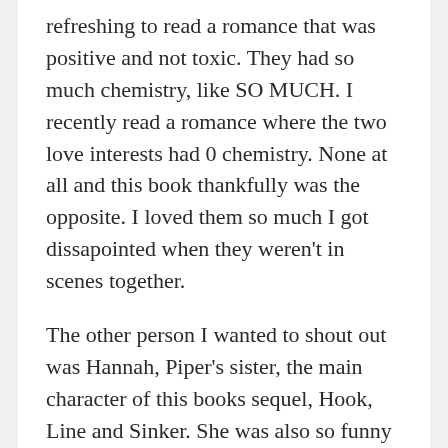refreshing to read a romance that was positive and not toxic. They had so much chemistry, like SO MUCH. I recently read a romance where the two love interests had 0 chemistry. None at all and this book thankfully was the opposite. I loved them so much I got dissapointed when they weren't in scenes together.
The other person I wanted to shout out was Hannah, Piper's sister, the main character of this books sequel, Hook, Line and Sinker. She was also so funny and I think her inclusion really helped you fall in love with Piper as a main character because you see her love for her sister and her sister's support for her just really adds more layers to Piper. I cannot wait for Hannah's story!